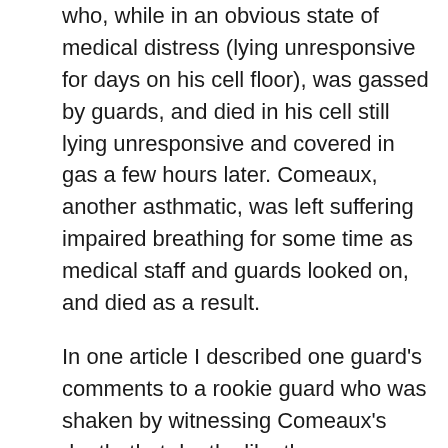who, while in an obvious state of medical distress (lying unresponsive for days on his cell floor), was gassed by guards, and died in his cell still lying unresponsive and covered in gas a few hours later. Comeaux, another asthmatic, was left suffering impaired breathing for some time as medical staff and guards looked on, and died as a result.
In one article I described one guard's comments to a rookie guard who was shaken by witnessing Comeaux's death, that deaths like these were common at this Unit, and he should get used to seeing them. And he was right. These killings are all too common. I've witnessed and heard many credible incidents of killings by methods ranging from guards hanging prisoners and claiming they